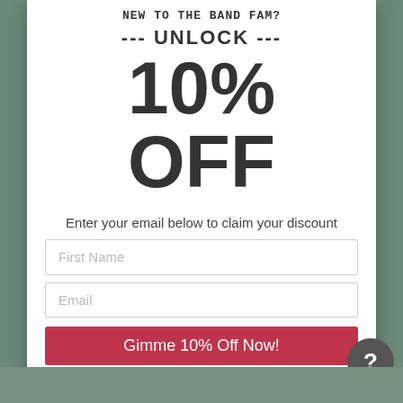NEW TO THE BAND FAM?
--- UNLOCK ---
10% OFF
Enter your email below to claim your discount
First Name
Email
Gimme 10% Off Now!
BONUS: Free 8 Week Pull-Up Challenge Included